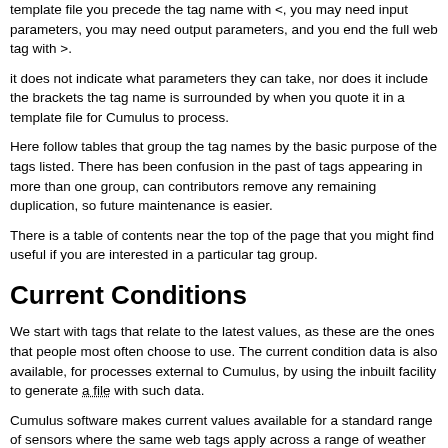template file you precede the tag name with <, you may need input parameters, you may need output parameters, and you end the full web tag with >.
it does not indicate what parameters they can take, nor does it include the brackets the tag name is surrounded by when you quote it in a template file for Cumulus to process.
Here follow tables that group the tag names by the basic purpose of the tags listed. There has been confusion in the past of tags appearing in more than one group, can contributors remove any remaining duplication, so future maintenance is easier.
There is a table of contents near the top of the page that you might find useful if you are interested in a particular tag group.
Current Conditions
We start with tags that relate to the latest values, as these are the ones that people most often choose to use. The current condition data is also available, for processes external to Cumulus, by using the inbuilt facility to generate a file with such data.
Cumulus software makes current values available for a standard range of sensors where the same web tags apply across a range of weather stations and...